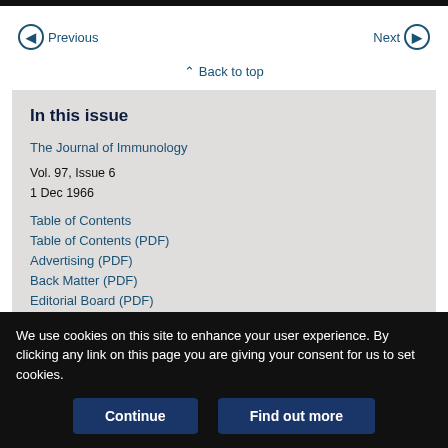Previous  |  Next
Back to top
In this issue
The Journal of Immunology
Vol. 97, Issue 6
1 Dec 1966
Table of Contents
Table of Contents (PDF)
Advertising (PDF)
Back Matter (PDF)
Editorial Board (PDF)
Front Matter (PDF)
We use cookies on this site to enhance your user experience. By clicking any link on this page you are giving your consent for us to set cookies.
Continue  |  Find out more